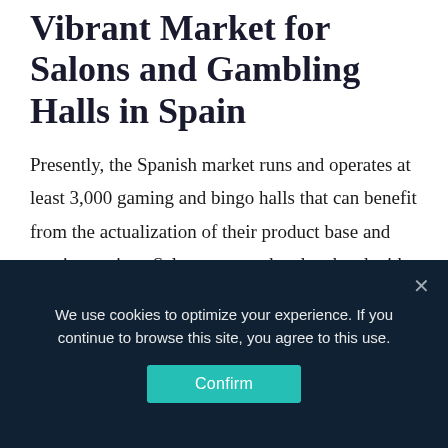Vibrant Market for Salons and Gambling Halls in Spain
Presently, the Spanish market runs and operates at least 3,000 gaming and bingo halls that can benefit from the actualization of their product base and gaming variety. Salons can run head-to-head with casinos and compete for customers by offering coveted products in a more tailored environment.
Orenes Grupo director of distribution and sales José
We use cookies to optimize your experience. If you continue to browse this site, you agree to this use. Confirm